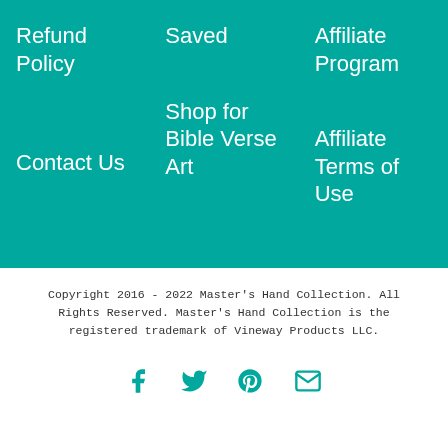Refund Policy
Saved
Affiliate Program
Contact Us
Shop for Bible Verse Art
Affiliate Terms of Use
Copyright 2016 - 2022 Master's Hand Collection. All Rights Reserved. Master's Hand Collection is the registered trademark of Vineway Products LLC.
[Figure (infographic): Social media icons: Facebook, Twitter, Pinterest, Email in teal color]